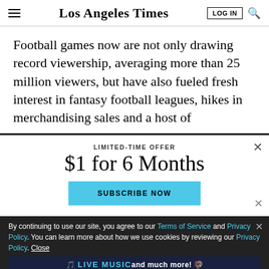Los Angeles Times
Football games now are not only drawing record viewership, averaging more than 25 million viewers, but have also fueled fresh interest in fantasy football leagues, hikes in merchandising sales and a host of
LIMITED-TIME OFFER
$1 for 6 Months
SUBSCRIBE NOW
By continuing to use our site, you agree to our Terms of Service and Privacy Policy. You can learn more about how we use cookies by reviewing our Privacy Policy. Close